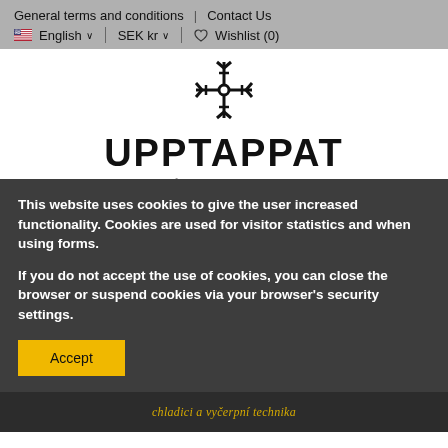General terms and conditions | Contact Us | 🇺🇸 English ∨ | SEK kr ∨ | ♡ Wishlist (0)
[Figure (logo): UPPTAPPAT logo — snowflake/nordic symbol above bold text 'UPPTAPPAT' with subtitle 'Part of the Good Flow Company']
This website uses cookies to give the user increased functionality. Cookies are used for visitor statistics and when using forms.

If you do not accept the use of cookies, you can close the browser or suspend cookies via your browser's security settings.
Accept
chladici a vyčerpní technika